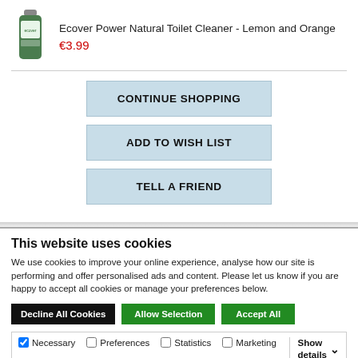[Figure (photo): Green Ecover Power Natural Toilet Cleaner bottle]
Ecover Power Natural Toilet Cleaner - Lemon and Orange
€3.99
CONTINUE SHOPPING
ADD TO WISH LIST
TELL A FRIEND
This website uses cookies
We use cookies to improve your online experience, analyse how our site is performing and offer personalised ads and content. Please let us know if you are happy to accept all cookies or manage your preferences below.
Decline All Cookies   Allow Selection   Accept All
Necessary   Preferences   Statistics   Marketing   Show details